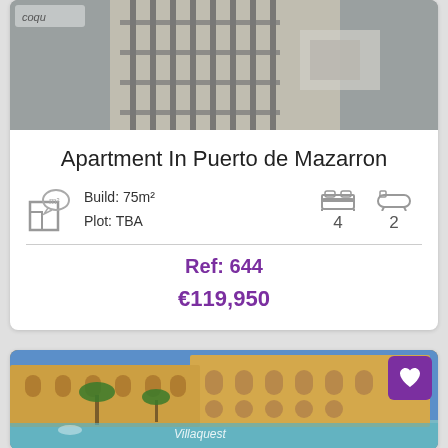[Figure (photo): Top portion of an apartment property photo, partially cut off, showing a balcony with metal grates and outdoor fixtures]
Apartment In Puerto de Mazarron
Build: 75m²
Plot: TBA
4 bedrooms, 2 bathrooms
Ref: 644
€119,950
[Figure (photo): Large Mediterranean-style resort building with yellow facade, arched windows, palm trees, and a swimming pool in the foreground. Villaquest watermark visible.]